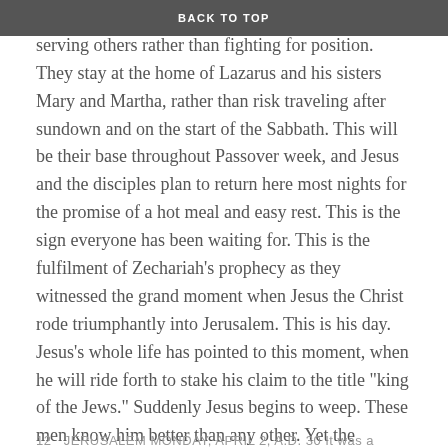BACK TO TOP
calls the disciples together, urging them to focus on serving others rather than fighting for position. They stay at the home of Lazarus and his sisters Mary and Martha, rather than risk traveling after sundown and on the start of the Sabbath. This will be their base throughout Passover week, and Jesus and the disciples plan to return here most nights for the promise of a hot meal and easy rest. This is the sign everyone has been waiting for. This is the fulfilment of Zechariah’s prophecy as they witnessed the grand moment when Jesus the Christ rode triumphantly into Jerusalem. This is his day. Jesus’s whole life has pointed to this moment, when he will ride forth to stake his claim to the title “king of the Jews.” Suddenly Jesus begins to weep. These men know him better than any other. Yet the disciples still do not understand who he truly claims to be. But will they make that incredible leap to believe that Jesus is God in the flesh?
12   JERUSALEM MONDAY, APRIL 2, A.D. 30 It was a